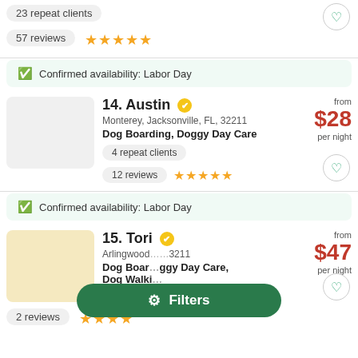23 repeat clients
57 reviews ★★★★★
Confirmed availability: Labor Day
14. Austin — Monterey, Jacksonville, FL, 32211 — Dog Boarding, Doggy Day Care — 4 repeat clients — 12 reviews ★★★★★ — from $28 per night
Confirmed availability: Labor Day
15. Tori — Arlingwood, Jacksonville, FL, 32211 — Dog Boarding, Doggy Day Care, Dog Walking — from $47 per night